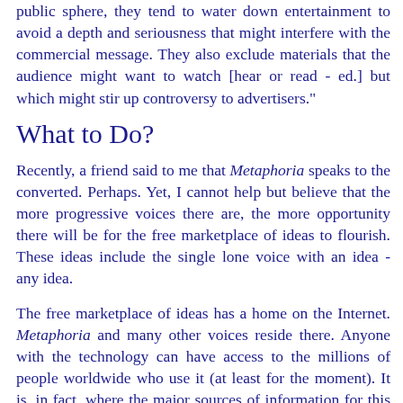public sphere, they tend to water down entertainment to avoid a depth and seriousness that might interfere with the commercial message. They also exclude materials that the audience might want to watch [hear or read - ed.] but which might stir up controversy to advertisers."
What to Do?
Recently, a friend said to me that Metaphoria speaks to the converted. Perhaps. Yet, I cannot help but believe that the more progressive voices there are, the more opportunity there will be for the free marketplace of ideas to flourish. These ideas include the single lone voice with an idea - any idea.
The free marketplace of ideas has a home on the Internet. Metaphoria and many other voices reside there. Anyone with the technology can have access to the millions of people worldwide who use it (at least for the moment). It is, in fact, where the major sources of information for this and most of issues of Metaphoria come from. It also provides me with prime sources of learning about what goes on in the world.
I do not rely upon CNN, Reuters, FOX or other corporate voices for my news. They will, as stated, only give me